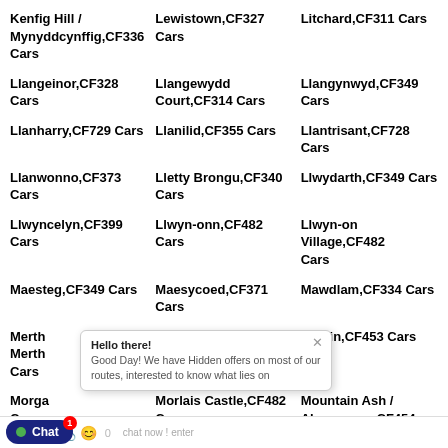Kenfig Hill / Mynyddcynffig,CF336 Cars
Lewistown,CF327 Cars
Litchard,CF311 Cars
Llangeinor,CF328 Cars
Llangewydd Court,CF314 Cars
Llangynwyd,CF349 Cars
Llanharry,CF729 Cars
Llanilid,CF355 Cars
Llantrisant,CF728 Cars
Llanwonno,CF373 Cars
Lletty Brongu,CF340 Cars
Llwydarth,CF349 Cars
Llwyncelyn,CF399 Cars
Llwyn-onn,CF482 Cars
Llwyn-on Village,CF482 Cars
Maesteg,CF349 Cars
Maesycoed,CF371 Cars
Mawdlam,CF334 Cars
Merthyr...
Merthyr Vale / Ynysowen,CF484 Cars
Miskin,CF453 Cars
Morgan... Cars
Morlais Castle,CF482 Cars
Mountain Ash / Aberpennar,CF454 Cars
Mount... Cars
Mwyndy,CF728 Cars
Mynachdy,CF373 Cars
N...n,CF340 Cars
Nant-y-moel,CF327 Cars
Newcastle,CF314 Cars